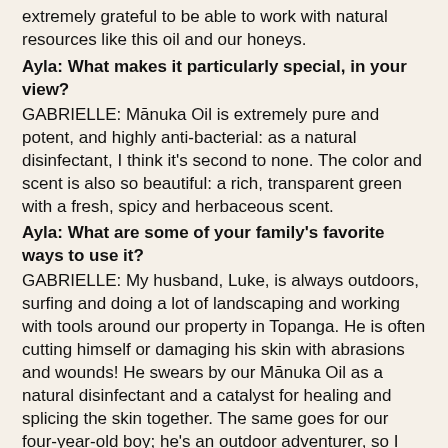extremely grateful to be able to work with natural resources like this oil and our honeys.
Ayla: What makes it particularly special, in your view?
GABRIELLE: Mānuka Oil is extremely pure and potent, and highly anti-bacterial: as a natural disinfectant, I think it's second to none. The color and scent is also so beautiful: a rich, transparent green with a fresh, spicy and herbaceous scent.
Ayla: What are some of your family's favorite ways to use it?
GABRIELLE: My husband, Luke, is always outdoors, surfing and doing a lot of landscaping and working with tools around our property in Topanga. He is often cutting himself or damaging his skin with abrasions and wounds! He swears by our Mānuka Oil as a natural disinfectant and a catalyst for healing and splicing the skin together. The same goes for our four-year-old boy; he's an outdoor adventurer, so I always use our oil and Manuka honey on any wounds he gets.
My personal favorite way to use our new Mānuka Oil is for skincare, either in a face mask or by adding two drops into a carrier oil and applying to my face after freshly cleaning it. It is also amazing at making spots disappear fast! And I diffuse our Mānuka Oil all day long in our Activist studio. The scent is beautiful — green, fresh and spicy — and definitely helps cleanse the air, which is especially important during cold and